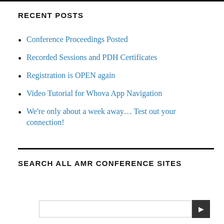RECENT POSTS
Conference Proceedings Posted
Recorded Sessions and PDH Certificates
Registration is OPEN again
Video Tutorial for Whova App Navigation
We're only about a week away… Test out your connection!
SEARCH ALL AMR CONFERENCE SITES